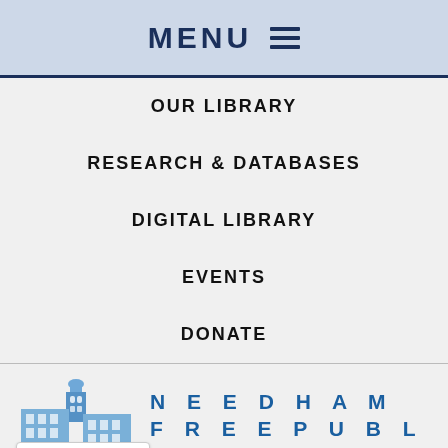MENU
OUR LIBRARY
RESEARCH & DATABASES
DIGITAL LIBRARY
EVENTS
DONATE
[Figure (logo): Needham Free Public Library logo with illustration of library building and text NEEDHAM FREE PUBLIC LIBRARY]
English